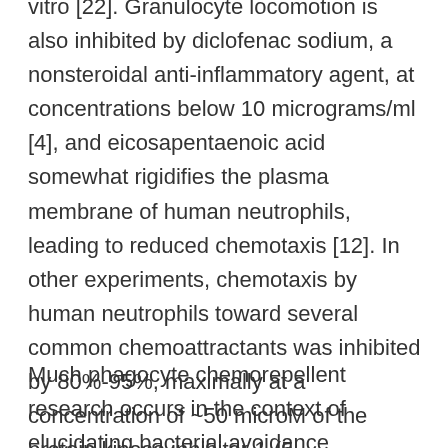vitro [22]. Granulocyte locomotion is also inhibited by diclofenac sodium, a nonsteroidal anti-inflammatory agent, at concentrations below 10 micrograms/ml [4], and eicosapentaenoic acid somewhat rigidifies the plasma membrane of human neutrophils, leading to reduced chemotaxis [12]. In other experiments, chemotaxis by human neutrophils toward several common chemoattractants was inhibited by 80%-95%, maximally at a concentration of ~50 microM of the protein kinase inhibitor 1-(5-isoquinolinesulfonyl) piperazine, without affecting the random migration of these white cells [13].
Much phagocyte chemorepellent research occurs in the context of elucidating bacterial avoidance